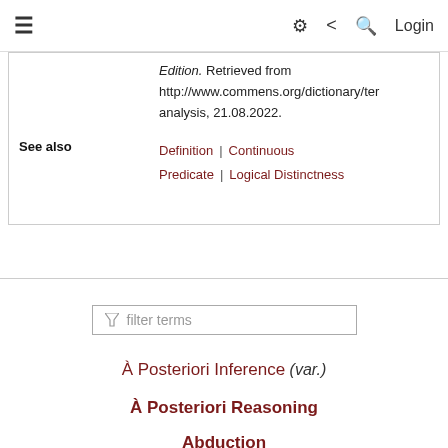≡  ⚙ < Q  Login
| See also | Definition | Continuous
Predicate | Logical Distinctness |
Edition. Retrieved from http://www.commens.org/dictionary/term…analysis, 21.08.2022.
filter terms
À Posteriori Inference (var.)
À Posteriori Reasoning
Abduction